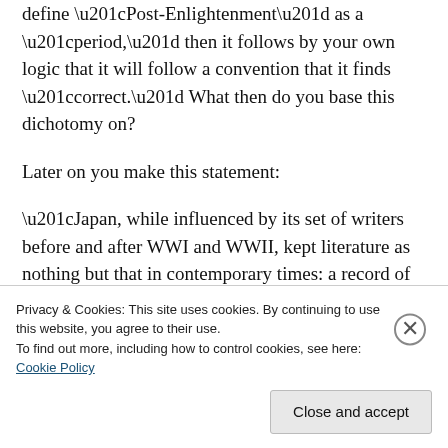natural events surrounding the which. If we are to define “Post-Enlightenment” as a “period,” then it follows by your own logic that it will follow a convention that it finds “correct.” What then do you base this dichotomy on?
Later on you make this statement:
“Japan, while influenced by its set of writers before and after WWI and WWII, kept literature as nothing but that in contemporary times: a record of works; a record of the ancient; a record to consult, to remember, to admire, and to reflect on.”
Privacy & Cookies: This site uses cookies. By continuing to use this website, you agree to their use.
To find out more, including how to control cookies, see here: Cookie Policy